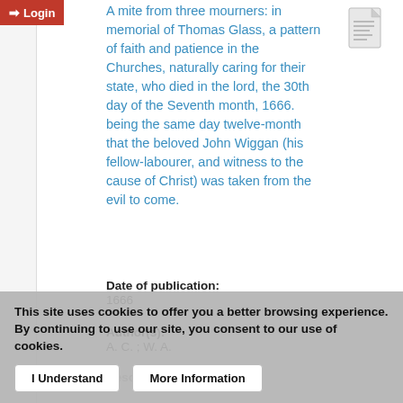Login
A mite from three mourners: in memorial of Thomas Glass, a pattern of faith and patience in the Churches, naturally caring for their state, who died in the lord, the 30th day of the Seventh month, 1666. being the same day twelve-month that the beloved John Wiggan (his fellow-labourer, and witness to the cause of Christ) was taken from the evil to come.
[Figure (illustration): Small document/page thumbnail icon in top right corner]
Date of publication:
1666
Author(s):
A. C. ; W. A.
Description:
This site uses cookies to offer you a better browsing experience. By continuing to use our site, you consent to our use of cookies.